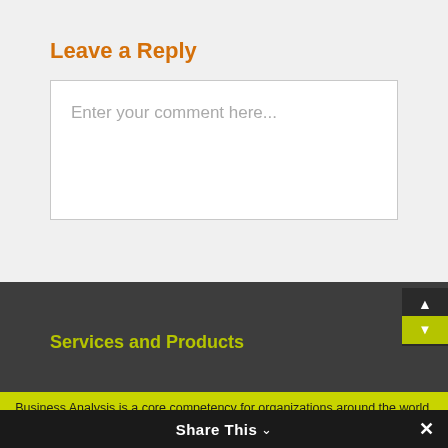Leave a Reply
Enter your comment here...
Services and Products
Business Analysis is a core competency for organizations around the world.
My email address
Keep me informed
Share This